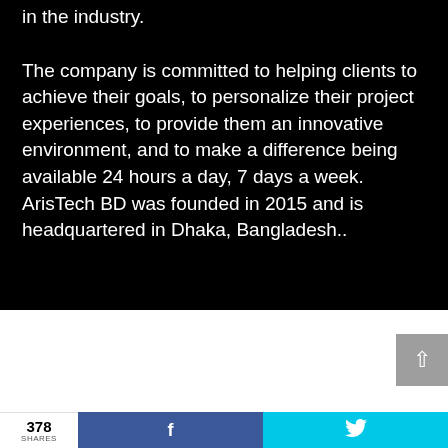in the industry.
The company is committed to helping clients to achieve their goals, to personalize their project experiences, to provide them an innovative environment, and to make a difference being available 24 hours a day, 7 days a week. ArisTech BD was founded in 2015 and is headquartered in Dhaka, Bangladesh..
378 SHARES  f  🐦